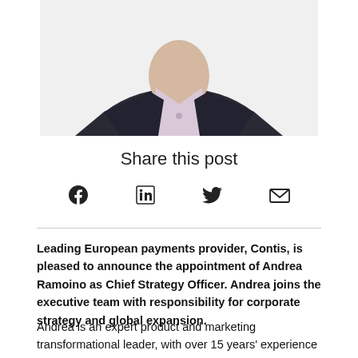[Figure (photo): Cropped photo of a person wearing a dark blazer and light pink/lilac shirt, white background, showing torso and partial face/neck area]
Share this post
[Figure (infographic): Social sharing icons: Facebook, LinkedIn, Twitter, Email]
Leading European payments provider, Contis, is pleased to announce the appointment of Andrea Ramoino as Chief Strategy Officer. Andrea joins the executive team with responsibility for corporate strategy and global expansion.
Andrea is an expert product and marketing transformational leader, with over 15 years' experience across many industries including Fintech, Crypto, AI and SaaS.